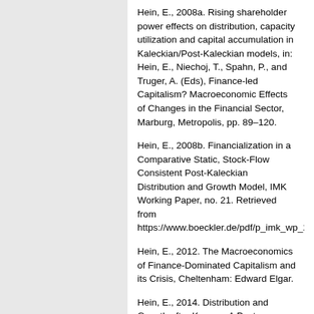Hein, E., 2008a. Rising shareholder power effects on distribution, capacity utilization and capital accumulation in Kaleckian/Post-Kaleckian models, in: Hein, E., Niechoj, T., Spahn, P., and Truger, A. (Eds), Finance-led Capitalism? Macroeconomic Effects of Changes in the Financial Sector, Marburg, Metropolis, pp. 89–120.
Hein, E., 2008b. Financialization in a Comparative Static, Stock-Flow Consistent Post-Kaleckian Distribution and Growth Model, IMK Working Paper, no. 21. Retrieved from https://www.boeckler.de/pdf/p_imk_wp_21_2008.pdf
Hein, E., 2012. The Macroeconomics of Finance-Dominated Capitalism and its Crisis, Cheltenham: Edward Elgar.
Hein, E., 2014. Distribution and Growth after Keynes: A Post-Keynesian Guide, Cheltenham: Edward Elgar.
Lavoie, M., 1995. Interest rates in post-Keynesian models of growth and distribution. Metroeconomica. 46, 146–177.
Lavoie, M., 2008. Financialisation issues in a post-Keynesian stock-flow consistent model. Intervention. European Journal of Economics and Economic Policies. 5(2), 331–356.
Lavoie, M., 2009. Cadrisme within a post-Keynesian model of growth and distribution. Review of Political Economy. 21(3)...